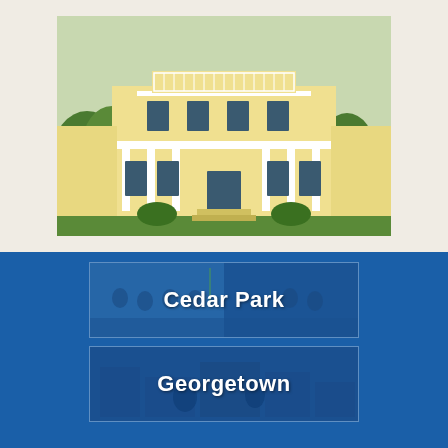[Figure (photo): A large two-story yellow Victorian/antebellum style mansion with white columns, balconies, and ornate railings, surrounded by green lawn and trees]
[Figure (photo): Cedar Park location card with a group photo of people in blue shirts overlaid with blue tint and white text reading 'Cedar Park']
[Figure (photo): Georgetown location card with a photo of a town/city scene overlaid with blue tint and white text reading 'Georgetown']